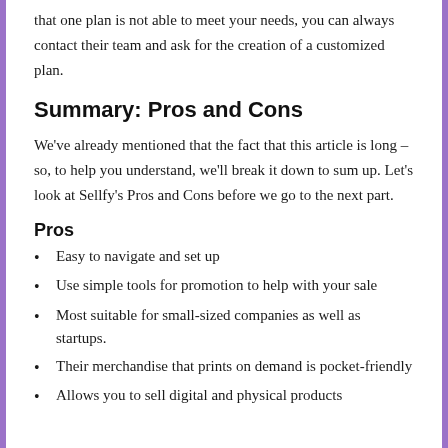that one plan is not able to meet your needs, you can always contact their team and ask for the creation of a customized plan.
Summary: Pros and Cons
We've already mentioned that the fact that this article is long – so, to help you understand, we'll break it down to sum up. Let's look at Sellfy's Pros and Cons before we go to the next part.
Pros
Easy to navigate and set up
Use simple tools for promotion to help with your sale
Most suitable for small-sized companies as well as startups.
Their merchandise that prints on demand is pocket-friendly
Allows you to sell digital and physical products